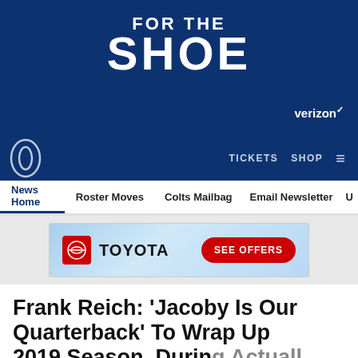FOR THE SHOE
[Figure (logo): Indianapolis Colts horseshoe logo, white outline on dark blue background]
verizon✓
TICKETS   SHOP   ☰
News Home   Roster Moves   Colts Mailbag   Email Newsletter   U
[Figure (screenshot): Toyota advertisement banner with Toyota logo and red SEE OFFERS button on sky blue background]
Frank Reich: 'Jacoby Is Our Quarterback' To Wrap Up 2019 Season, During Actually...